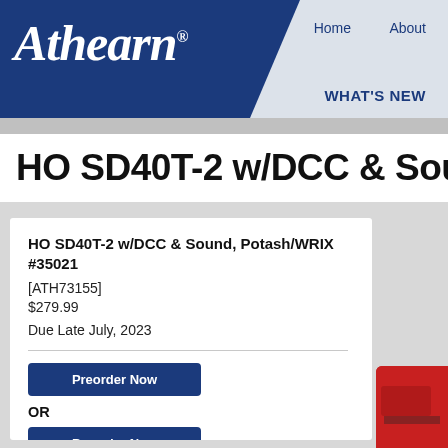[Figure (logo): Athearn brand logo in white italic script on dark blue header background with navigation links Home, About, and WHAT'S NEW]
HO SD40T-2 w/DCC & Sound
HO SD40T-2 w/DCC & Sound, Potash/WRIX #35021
[ATH73155]
$279.99

Due Late July, 2023
Preorder Now
OR
Preorder Now